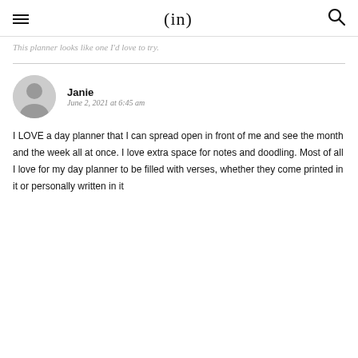(in)
This planner looks like one I'd love to try.
Janie
June 2, 2021 at 6:45 am

I LOVE a day planner that I can spread open in front of me and see the month and the week all at once. I love extra space for notes and doodling. Most of all I love for my day planner to be filled with verses, whether they come printed in it or personally written in it